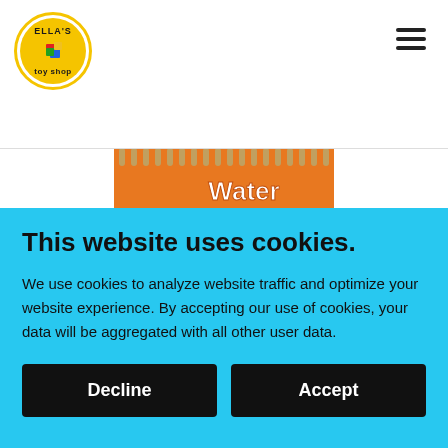[Figure (logo): Ella's Toy Shop circular logo with colorful puzzle pieces]
[Figure (photo): Water Magic Under the Sea book cover — orange with spiral binding, purple wave at bottom]
This website uses cookies.
We use cookies to analyze website traffic and optimize your website experience. By accepting our use of cookies, your data will be aggregated with all other user data.